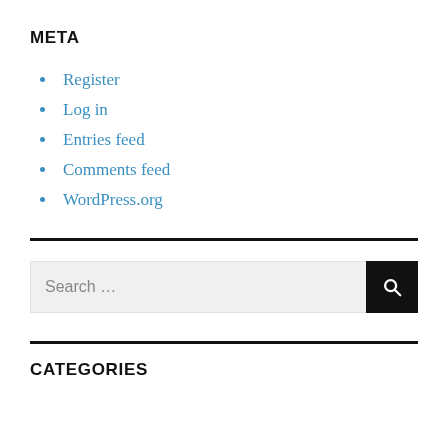META
Register
Log in
Entries feed
Comments feed
WordPress.org
[Figure (other): Search bar with text input showing 'Search ...' placeholder and a black search button with magnifying glass icon]
CATEGORIES